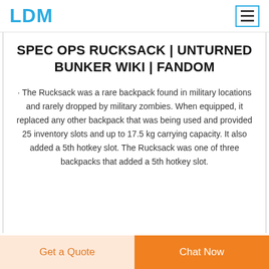LDM
SPEC OPS RUCKSACK | UNTURNED BUNKER WIKI | FANDOM
· The Rucksack was a rare backpack found in military locations and rarely dropped by military zombies. When equipped, it replaced any other backpack that was being used and provided 25 inventory slots and up to 17.5 kg carrying capacity. It also added a 5th hotkey slot. The Rucksack was one of three backpacks that added a 5th hotkey slot.
Get a Quote  Chat Now